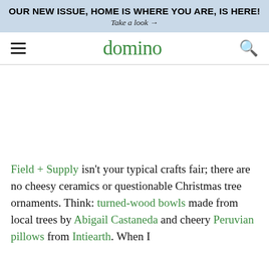OUR NEW ISSUE, HOME IS WHERE YOU ARE, IS HERE! Take a look →
domino
Field + Supply isn't your typical crafts fair; there are no cheesy ceramics or questionable Christmas tree ornaments. Think: turned-wood bowls made from local trees by Abigail Castaneda and cheery Peruvian pillows from Intiearth. When I